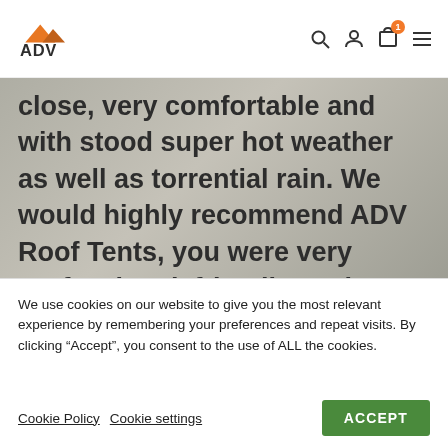ADV (logo with navigation icons: search, account, cart (1 item), menu)
close, very comfortable and with stood super hot weather as well as torrential rain. We would highly recommend ADV Roof Tents, you were very professional, friendly, and true to your word.”
We use cookies on our website to give you the most relevant experience by remembering your preferences and repeat visits. By clicking “Accept”, you consent to the use of ALL the cookies.
Cookie Policy  Cookie settings  ACCEPT